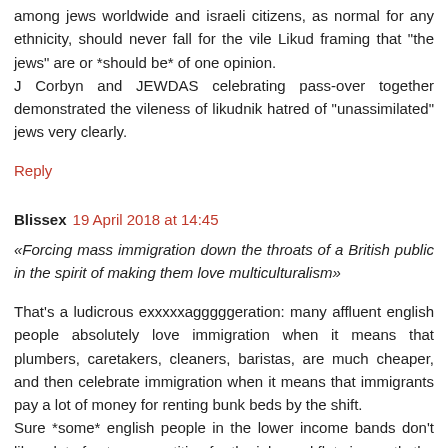among jews worldwide and israeli citizens, as normal for any ethnicity, should never fall for the vile Likud framing that "the jews" are or *should be* of one opinion.
J Corbyn and JEWDAS celebrating pass-over together demonstrated the vileness of likudnik hatred of "unassimilated" jews very clearly.
Reply
Blissex 19 April 2018 at 14:45
«Forcing mass immigration down the throats of a British public in the spirit of making them love multiculturalism»
That's a ludicrous exxxxxagggggeration: many affluent english people absolutely love immigration when it means that plumbers, caretakers, cleaners, baristas, are much cheaper, and then celebrate immigration when it means that immigrants pay a lot of money for renting bunk beds by the shift.
Sure *some* english people in the lower income bands don't like a lot of extra competition for the jobs and flats in mostly the south east and London, but they don't matter